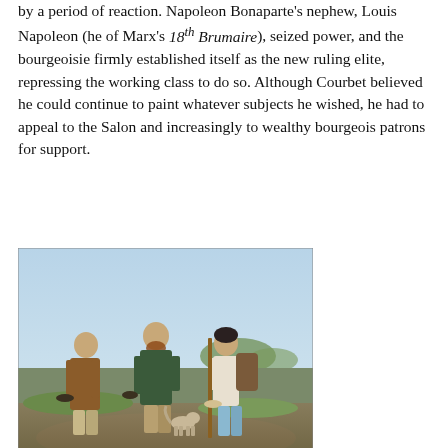by a period of reaction. Napoleon Bonaparte's nephew, Louis Napoleon (he of Marx's 18th Brumaire), seized power, and the bourgeoisie firmly established itself as the new ruling elite, repressing the working class to do so. Although Courbet believed he could continue to paint whatever subjects he wished, he had to appeal to the Salon and increasingly to wealthy bourgeois patrons for support.
[Figure (photo): Painting showing three men meeting outdoors on a country road. One man in a brown coat holds his hat down; a second man in a dark green jacket extends his hand in greeting; a third man in a white shirt carries a walking staff and large backpack. A small dog is visible near their feet, and a pastoral landscape stretches into the background.]